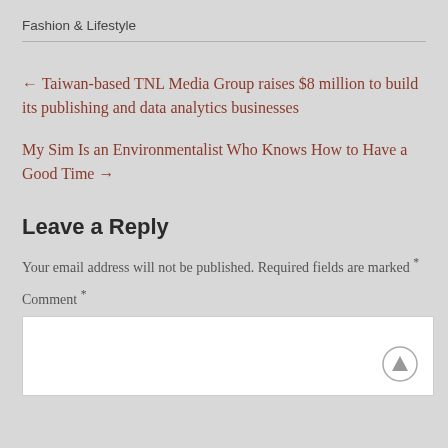Fashion & Lifestyle
← Taiwan-based TNL Media Group raises $8 million to build its publishing and data analytics businesses
My Sim Is an Environmentalist Who Knows How to Have a Good Time →
Leave a Reply
Your email address will not be published. Required fields are marked *
Comment *
[Figure (other): White comment text input area with a scroll-to-top circular arrow button in the bottom right corner]